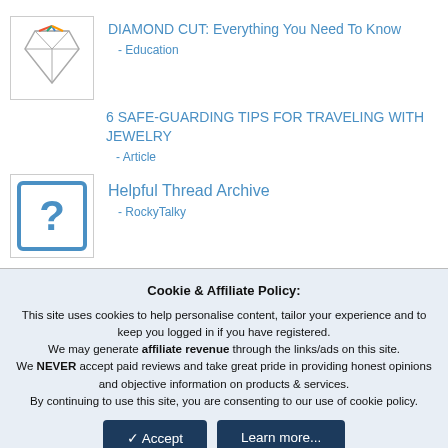[Figure (illustration): Diamond cut diagram thumbnail with colored lines showing facets]
DIAMOND CUT: Everything You Need To Know
- Education
6 SAFE-GUARDING TIPS FOR TRAVELING WITH JEWELRY
- Article
[Figure (illustration): Blue question mark icon in a square border]
Helpful Thread Archive
- RockyTalky
Cookie & Affiliate Policy: This site uses cookies to help personalise content, tailor your experience and to keep you logged in if you have registered. We may generate affiliate revenue through the links/ads on this site. We NEVER accept paid reviews and take great pride in providing honest opinions and objective information on products & services. By continuing to use this site, you are consenting to our use of cookie policy.
Accept
Learn more...